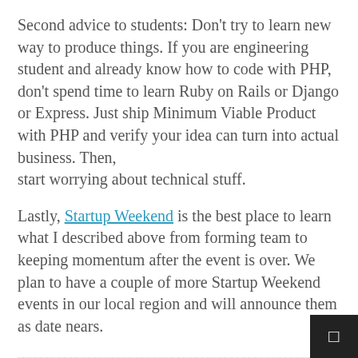Second advice to students: Don't try to learn new way to produce things. If you are engineering student and already know how to code with PHP, don't spend time to learn Ruby on Rails or Django or Express. Just ship Minimum Viable Product with PHP and verify your idea can turn into actual business. Then, start worrying about technical stuff.
Lastly, Startup Weekend is the best place to learn what I described above from forming team to keeping momentum after the event is over. We plan to have a couple of more Startup Weekend events in our local region and will announce them as date nears.
[decorative squiggle line 1]
[decorative squiggle lines 2]